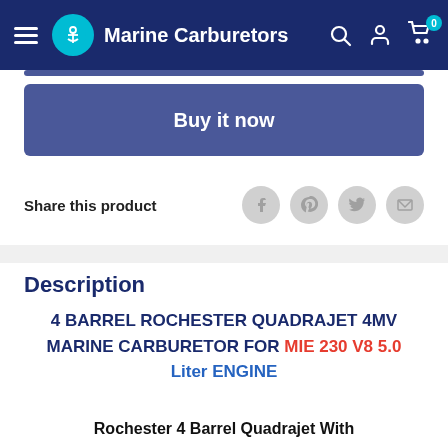Marine Carburetors
Buy it now
Share this product
Description
4 BARREL ROCHESTER QUADRAJET 4MV MARINE CARBURETOR FOR MIE 230 V8 5.0 Liter ENGINE
Rochester 4 Barrel Quadrajet With